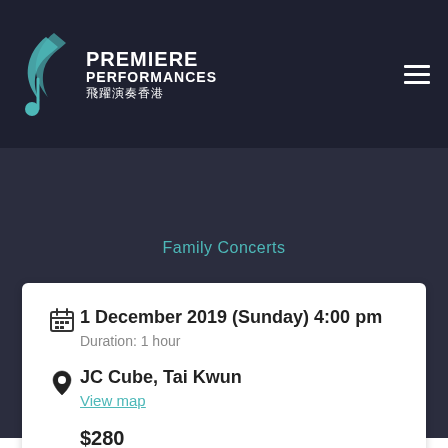PREMIERE PERFORMANCES 飛躍演奏香港
Family Concerts
Romer String Quartet
Family Concert
1 December 2019 (Sunday) 4:00 pm
Duration: 1 hour
JC Cube, Tai Kwun
View map
$280